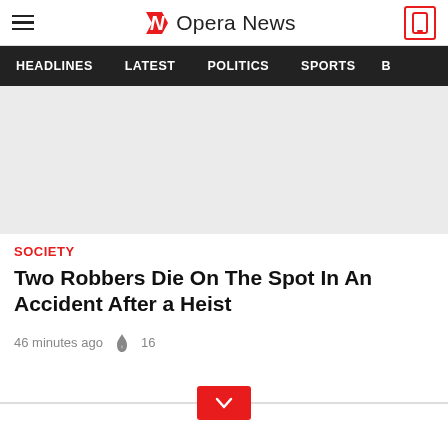Opera News
[Figure (screenshot): Light grey placeholder image for article]
SOCIETY
Two Robbers Die On The Spot In An Accident After a Heist
46 minutes ago  🔥 16